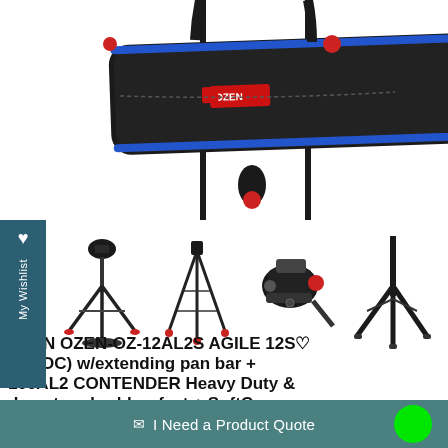[Figure (photo): Main product image showing OZEN camera tripod carrying bag/soft case in black with blue trim and red OZEN logo, hanging from a black pole with red accent hardware]
[Figure (photo): Four thumbnail images of the OZEN tripod product: assembled tripod with fluid head and spreader, tall tripod without head, close-up of fluid head, and spread leg detail]
OZEN OZEN-OZ-12AL2S AGILE 12S (S-LOC) w/extending pan bar + 100AL2 CONTENDER Heavy Duty & deep-tread rubber feet + SoftCase 100
I Need a Product Quote